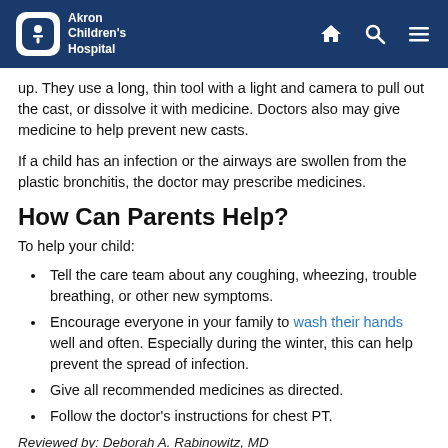Akron Children's Hospital
up. They use a long, thin tool with a light and camera to pull out the cast, or dissolve it with medicine. Doctors also may give medicine to help prevent new casts.

If a child has an infection or the airways are swollen from the plastic bronchitis, the doctor may prescribe medicines.
How Can Parents Help?
To help your child:
Tell the care team about any coughing, wheezing, trouble breathing, or other new symptoms.
Encourage everyone in your family to wash their hands well and often. Especially during the winter, this can help prevent the spread of infection.
Give all recommended medicines as directed.
Follow the doctor's instructions for chest PT.
Reviewed by: Deborah A. Rabinowitz, MD